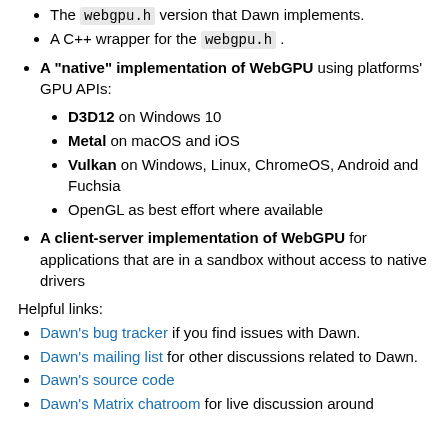The webgpu.h version that Dawn implements.
A C++ wrapper for the webgpu.h .
A "native" implementation of WebGPU using platforms' GPU APIs:
D3D12 on Windows 10
Metal on macOS and iOS
Vulkan on Windows, Linux, ChromeOS, Android and Fuchsia
OpenGL as best effort where available
A client-server implementation of WebGPU for applications that are in a sandbox without access to native drivers
Helpful links:
Dawn's bug tracker if you find issues with Dawn.
Dawn's mailing list for other discussions related to Dawn.
Dawn's source code
Dawn's Matrix chatroom for live discussion around